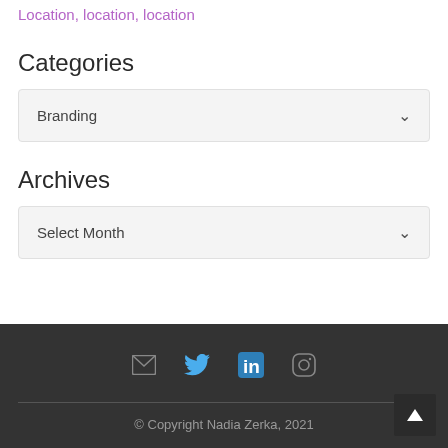Location, location, location
Categories
Branding
Archives
Select Month
© Copyright Nadia Zerka, 2021